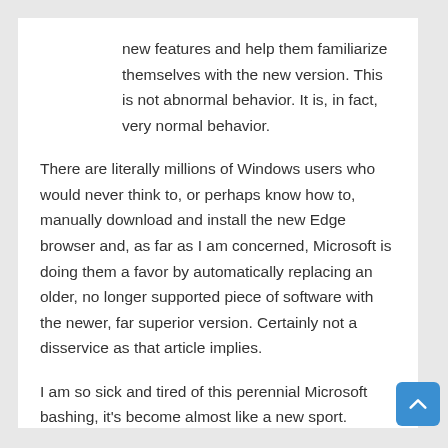new features and help them familiarize themselves with the new version. This is not abnormal behavior. It is, in fact, very normal behavior.
There are literally millions of Windows users who would never think to, or perhaps know how to, manually download and install the new Edge browser and, as far as I am concerned, Microsoft is doing them a favor by automatically replacing an older, no longer supported piece of software with the newer, far superior version. Certainly not a disservice as that article implies.
I am so sick and tired of this perennial Microsoft bashing, it's become almost like a new sport.